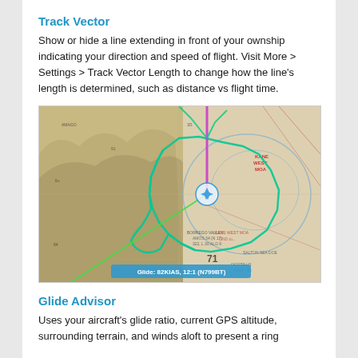Track Vector
Show or hide a line extending in front of your ownship indicating your direction and speed of flight. Visit More > Settings > Track Vector Length to change how the line's length is determined, such as distance vs flight time.
[Figure (screenshot): Aviation sectional chart screenshot showing ownship aircraft icon with a magenta/purple vertical track vector line extending upward, a green glide ring around the aircraft, a green diagonal line extending to the lower-left, and an info banner at the bottom reading 'Glide: 82KIAS, 12:1 (N799BT)'. The area shows terrain and airspace including KANE WEST MOA.]
Glide Advisor
Uses your aircraft's glide ratio, current GPS altitude, surrounding terrain, and winds aloft to present a ring